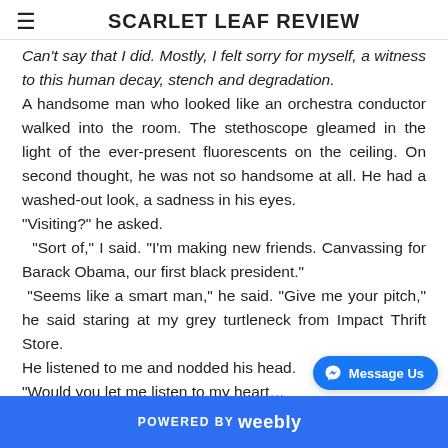SCARLET LEAF REVIEW
Can't say that I did. Mostly, I felt sorry for myself, a witness to this human decay, stench and degradation.
A handsome man who looked like an orchestra conductor walked into the room. The stethoscope gleamed in the light of the ever-present fluorescents on the ceiling. On second thought, he was not so handsome at all. He had a washed-out look, a sadness in his eyes.
“Visiting?” he asked.
“Sort of,” I said. “I’m making new friends. Canvassing for Barack Obama, our first black president.”
“Seems like a smart man,” he said. “Give me your pitch,” he said staring at my grey turtleneck from Impact Thrift Store.
He listened to me and nodded his head.
“Would you let me listen to my heart…
POWERED BY weebly